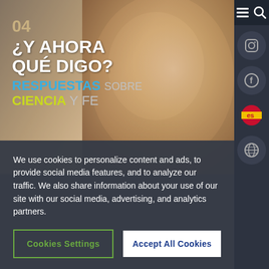[Figure (photo): Hero image of a smiling man with glasses against a rocky background, with Spanish text overlay: '04 ¿Y AHORA QUÉ DIGO? RESPUESTAS SOBRE CIENCIA Y FE']
We use cookies to personalize content and ads, to provide social media features, and to analyze our traffic. We also share information about your use of our site with our social media, advertising, and analytics partners.
Cookies Settings
Accept All Cookies